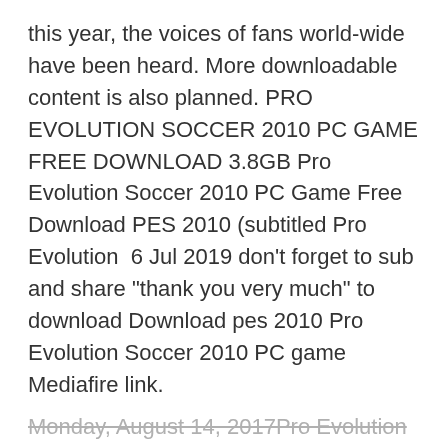this year, the voices of fans world-wide have been heard. More downloadable content is also planned. PRO EVOLUTION SOCCER 2010 PC GAME FREE DOWNLOAD 3.8GB Pro Evolution Soccer 2010 PC Game Free Download PES 2010 (subtitled Pro Evolution  6 Jul 2019 don't forget to sub and share "thank you very much" to download Download pes 2010 Pro Evolution Soccer 2010 PC game Mediafire link.
Monday, August 14, 2017Pro Evolution Soccer 2017 Download:
Search Here
Everything62y.net/tags/assassinationFind the most comprehensive source for free software downloads on the Web. Includes games, movies, utilities, software, applications, ebook, music, freedownload for everything. F1 2010 PC Download Free Full – Sebuah game sport racing keren dengan tampilan 3D yang mantep, game balapan formula [...]Pes 2018 - PC - Torrent + Crack https://...torrent..................2018...